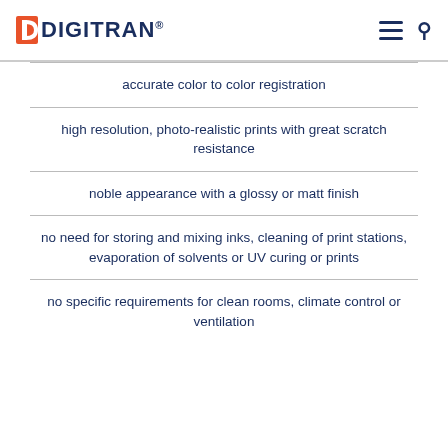DIGITRAN®
accurate color to color registration
high resolution, photo-realistic prints with great scratch resistance
noble appearance with a glossy or matt finish
no need for storing and mixing inks, cleaning of print stations, evaporation of solvents or UV curing or prints
no specific requirements for clean rooms, climate control or ventilation